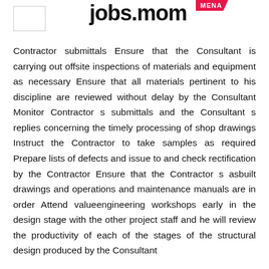jobs.mom MENA
Contractor submittals Ensure that the Consultant is carrying out offsite inspections of materials and equipment as necessary Ensure that all materials pertinent to his discipline are reviewed without delay by the Consultant Monitor Contractor s submittals and the Consultant s replies concerning the timely processing of shop drawings Instruct the Contractor to take samples as required Prepare lists of defects and issue to and check rectification by the Contractor Ensure that the Contractor s asbuilt drawings and operations and maintenance manuals are in order Attend valueengineering workshops early in the design stage with the other project staff and he will review the productivity of each of the stages of the structural design produced by the Consultant